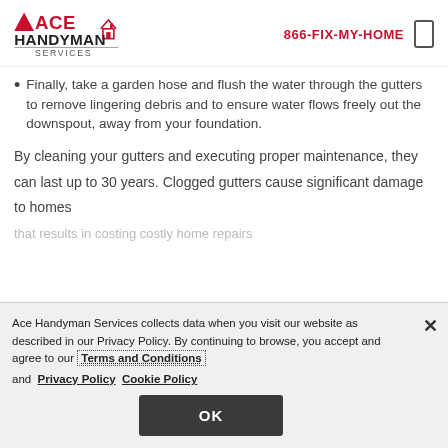ACE HANDYMAN SERVICES | 866-FIX-MY-HOME
Finally, take a garden hose and flush the water through the gutters to remove lingering debris and to ensure water flows freely out the downspout, away from your foundation.
By cleaning your gutters and executing proper maintenance, they can last up to 30 years. Clogged gutters cause significant damage to homes that results in costing costly home repairs
Ace Handyman Services collects data when you visit our website as described in our Privacy Policy. By continuing to browse, you accept and agree to our Terms and Conditions and Privacy Policy Cookie Policy
OK